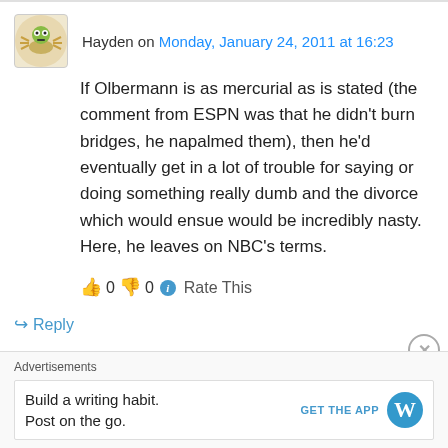Hayden on Monday, January 24, 2011 at 16:23
If Olbermann is as mercurial as is stated (the comment from ESPN was that he didn't burn bridges, he napalmed them), then he'd eventually get in a lot of trouble for saying or doing something really dumb and the divorce which would ensue would be incredibly nasty. Here, he leaves on NBC's terms.
👍 0 👎 0 ℹ Rate This
↪ Reply
Advertisements
Build a writing habit. Post on the go.
GET THE APP